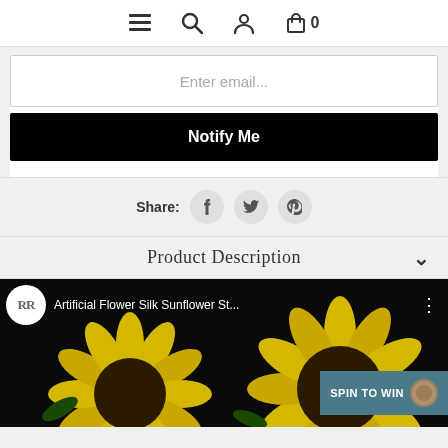Navigation bar with menu, search, account, and cart (0) icons
Enter email...
Notify Me
Share:
Product Description
[Figure (screenshot): Video thumbnail showing artificial silk sunflowers with 'RR' logo, title 'Artificial Flower Silk Sunflower St...' and a 'SPIN TO WIN' badge]